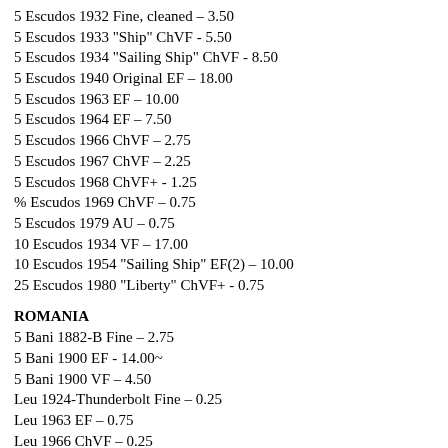5 Escudos 1932 Fine, cleaned – 3.50
5 Escudos 1933 "Ship" ChVF - 5.50
5 Escudos 1934 "Sailing Ship" ChVF - 8.50
5 Escudos 1940 Original EF – 18.00
5 Escudos 1963 EF – 10.00
5 Escudos 1964 EF – 7.50
5 Escudos 1966 ChVF – 2.75
5 Escudos 1967 ChVF – 2.25
5 Escudos 1968 ChVF+ - 1.25
% Escudos 1969 ChVF – 0.75
5 Escudos 1979 AU – 0.75
10 Escudos 1934 VF – 17.00
10 Escudos 1954 "Sailing Ship" EF(2) – 10.00
25 Escudos 1980 "Liberty" ChVF+ - 0.75
ROMANIA
5 Bani 1882-B Fine – 2.75
5 Bani 1900 EF - 14.00~
5 Bani 1900 VF – 4.50
Leu 1924-Thunderbolt Fine – 0.25
Leu 1963 EF – 0.75
Leu 1966 ChVF – 0.25
2 Lei 1924(p) ChEF – 5.00~
2 Lei 1924-Thunderbolt Fine – 1.25
5 Lei 1930-KN VF – 3.75
20 Lei 1942 Zinc ChEF, some white rust – 4.50